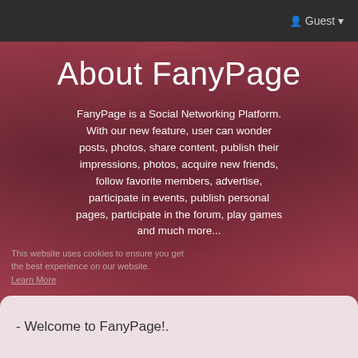Guest ▾
About FanyPage
FanyPage is a Social Networking Platform. With our new feature, user can wonder posts, photos, share content, publish their impressions, photos, acquire new friends, follow favorite members, advertise, participate in events, publish personal pages, participate in the forum, play games and much more...
This website uses cookies to ensure you get the best experience on our website. Learn More
- Welcome to FanyPage!.